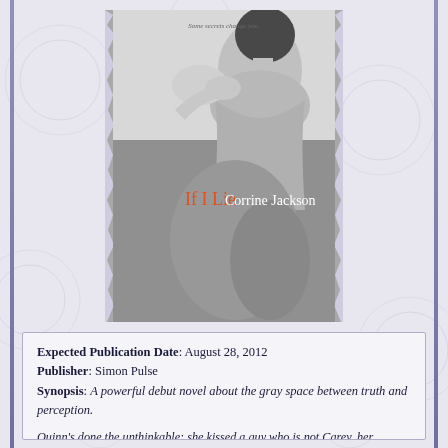[Figure (photo): Book cover of 'If I Lie' by Corrine Jackson. Black and white photo of two people embracing, one with hand on the other's shoulder. Title 'If I Lie' in orange/red text and author name 'Corrine Jackson' in white text on the cover. Tagline 'Some secrets change you.' at top.]
Expected Publication Date: August 28, 2012
Publisher: Simon Pulse
Synopsis: A powerful debut novel about the gray space between truth and perception.

Quinn's done the unthinkable: she kissed a guy who is not Carey, her boyfriend. And she got caught. Being branded a cheater would be bad enough, but Quinn is